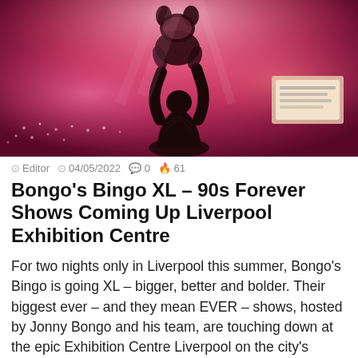[Figure (photo): Concert scene with a silhouette of a person holding up a stuffed animal/toy against a bright pink/magenta stage lighting background with crowd lights visible]
Editor  04/05/2022  0  61
Bongo's Bingo XL – 90s Forever Shows Coming Up Liverpool Exhibition Centre
For two nights only in Liverpool this summer, Bongo's Bingo is going XL – bigger, better and bolder. Their biggest ever – and they mean EVER – shows, hosted by Jonny Bongo and his team, are touching down at the epic Exhibition Centre Liverpool on the city's famous waterfront. 90s Forever will feature production and